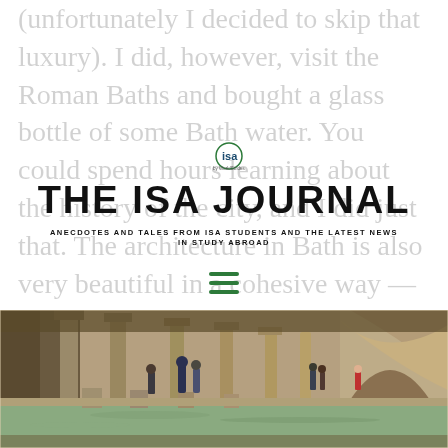(unfortunately I decided to skip that luxury). I did, however, visit the Roman Baths and bought a glass bottle of some Bath water. You could spend hours learning about the history of the city, and I did just that. The architecture in Bath is also very beautiful in a cohesive way — the buildings are all made of limestone. One particular limestone building also holds the famous Jane Austen Centre if you're a fan of literature like I am.
THE ISA JOURNAL
ANECDOTES AND TALES FROM ISA STUDENTS AND THE LATEST NEWS IN STUDY ABROAD
[Figure (photo): Interior of the Roman Baths in Bath, England. Shows ancient stone columns, a green-tinted pool of water in the foreground, and tourists walking around the bath complex. Stone pedestals are visible along the water's edge. Arched architecture visible in the background.]